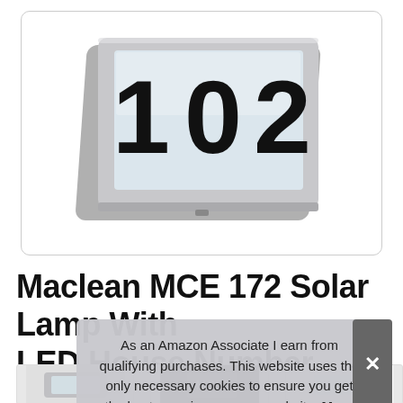[Figure (photo): Photo of Maclean MCE 172 Solar Lamp with LED House Number showing numbers '102' on a frosted white panel in a silver/chrome square frame, displayed on white background inside a rounded rectangle border.]
Maclean MCE 172 Solar Lamp With LED House Number Lamp Outdoor Mo
As an Amazon Associate I earn from qualifying purchases. This website uses the only necessary cookies to ensure you get the best experience on our website. More information
[Figure (photo): Thumbnail strip of product images at bottom of page, partially visible.]